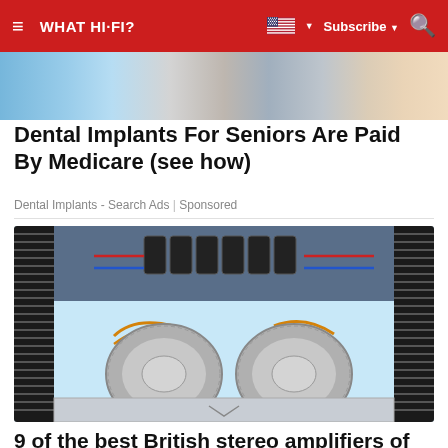≡ WHAT HI-FI? | Subscribe | 🔍
[Figure (photo): Partial dental procedure photo shown as advertisement background image]
Dental Implants For Seniors Are Paid By Medicare (see how)
Dental Implants - Search Ads | Sponsored
[Figure (photo): Internal view of a British stereo amplifier showing two large toroidal transformers, capacitor banks, heat sinks on left and right sides, and circuit boards with wiring on a light blue background]
9 of the best British stereo amplifiers of all